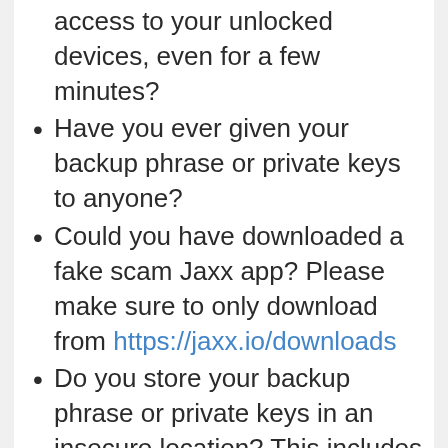access to your unlocked devices, even for a few minutes?
Have you ever given your backup phrase or private keys to anyone?
Could you have downloaded a fake scam Jaxx app? Please make sure to only download from https://jaxx.io/downloads
Do you store your backup phrase or private keys in an insecure location? This includes a device connected to the internet.
Have you spoken to anyone online about your wallet? We do not provide support on any social media channels due to the number of imposters trying to steal your funds.